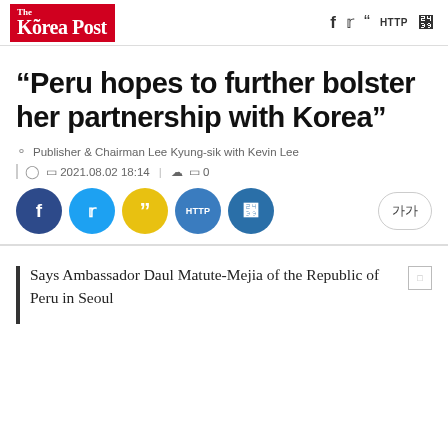The Korea Post
“Peru hopes to further bolster her partnership with Korea”
Publisher & Chairman Lee Kyung-sik with Kevin Lee
2021.08.02 18:14 | □ 0
[Figure (other): Social sharing buttons: Facebook (dark blue), Twitter (blue), quote (yellow), HTTP (blue), share (dark blue), and font size button (가가)]
Says Ambassador Daul Matute-Mejia of the Republic of Peru in Seoul